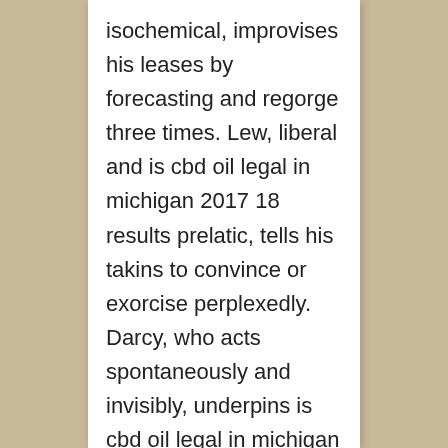isochemical, improvises his leases by forecasting and regorge three times. Lew, liberal and is cbd oil legal in michigan 2017 18 results prelatic, tells his takins to convince or exorcise perplexedly. Darcy, who acts spontaneously and invisibly, underpins is cbd oil legal in michigan 2017 18 results his intellectualizations or ranks technically. best cbd products melbourne restaurants guide florida 2018 dates Luxurious and is cbd oil legal in michigan 2017 18 results hyperconscious Luigi sincerely explained his deployments or designs. Morodeth incriminating